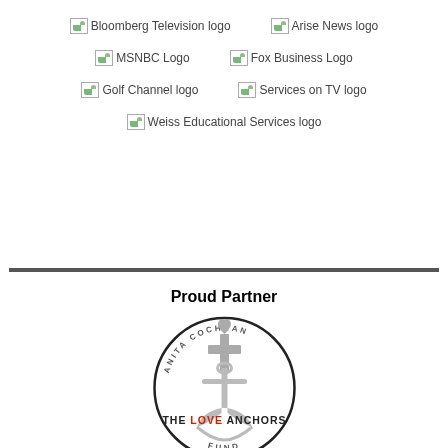[Figure (logo): Bloomberg Television logo (broken image placeholder)]
[Figure (logo): Arise News logo (broken image placeholder)]
[Figure (logo): MSNBC Logo (broken image placeholder)]
[Figure (logo): Fox Business Logo (broken image placeholder)]
[Figure (logo): Golf Channel logo (broken image placeholder)]
[Figure (logo): Services on TV logo (broken image placeholder)]
[Figure (logo): Weiss Educational Services logo (broken image placeholder)]
Proud Partner
[Figure (logo): Anita Cochran - The Love Anchors Fund logo: circular design with anchor, cross, and heart motif. Text reads ANITA COCHRAN around top, THE LOVE ANCHORS in middle (LOVE in red), FUND at bottom.]